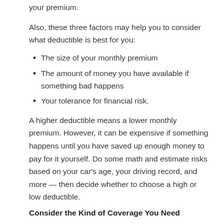your premium.
Also, these three factors may help you to consider what deductible is best for you:
The size of your monthly premium
The amount of money you have available if something bad happens
Your tolerance for financial risk.
A higher deductible means a lower monthly premium. However, it can be expensive if something happens until you have saved up enough money to pay for it yourself. Do some math and estimate risks based on your car's age, your driving record, and more — then decide whether to choose a high or low deductible.
Consider the Kind of Coverage You Need